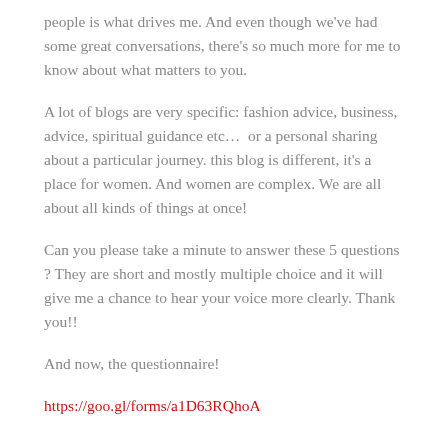people is what drives me. And even though we've had some great conversations, there's so much more for me to know about what matters to you.
A lot of blogs are very specific: fashion advice, business, advice, spiritual guidance etc…  or a personal sharing about a particular journey. this blog is different, it's a place for women. And women are complex. We are all about all kinds of things at once!
Can you please take a minute to answer these 5 questions ? They are short and mostly multiple choice and it will give me a chance to hear your voice more clearly. Thank you!!
And now, the questionnaire!
https://goo.gl/forms/a1D63RQhoA